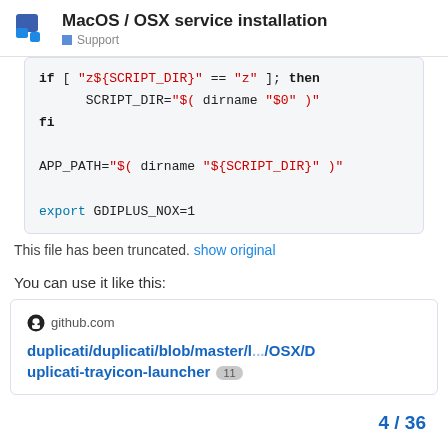MacOS / OSX service installation — Support
[Figure (screenshot): Code block showing bash script: if [ "z${SCRIPT_DIR}" == "z" ]; then SCRIPT_DIR="$( dirname "$0" )" fi  APP_PATH="$( dirname "${SCRIPT_DIR}" )"  export GDIPLUS_NOX=1]
This file has been truncated. show original
You can use it like this:
[Figure (screenshot): GitHub link card showing github.com and link to duplicati/duplicati/blob/master/l.../OSX/D uplicati-trayicon-launcher with badge 11]
4 / 36